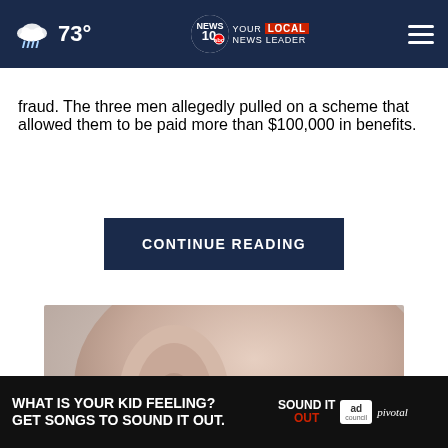73° — NEWS 10 YOUR LOCAL NEWS LEADER
fraud. The three men allegedly pulled on a scheme that allowed them to be paid more than $100,000 in benefits.
CONTINUE READING
[Figure (photo): Close-up photo of a person inserting an earbud into their ear, held with fingers with pink nail polish.]
[Figure (infographic): Advertisement banner: WHAT IS YOUR KID FEELING? GET SONGS TO SOUND IT OUT. Sound It Out campaign by Ad Council and Pivotal.]